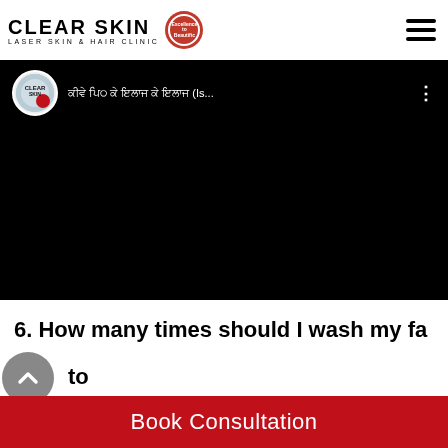[Figure (logo): Clear Skin Laser Skin & Hair Clinic logo with red circular badge]
[Figure (screenshot): Embedded YouTube video player showing a Clear Skin channel video with Hindi text title and (Is... shown in the title bar, black video frame]
6. How many times should I wash my face to treat acne?
Book Consultation